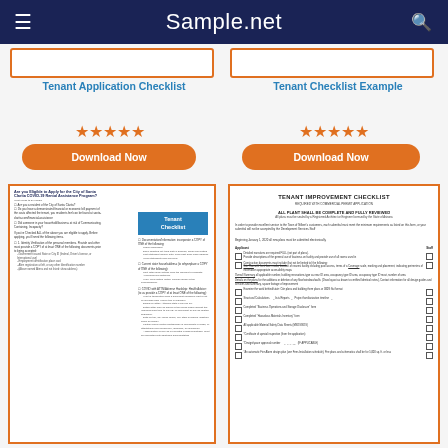Sample.net
Tenant Application Checklist
Tenant Checklist Example
[Figure (screenshot): Document thumbnail of Tenant Application Checklist with orange border]
[Figure (screenshot): Document thumbnail of Tenant Checklist with blue header section and form fields]
[Figure (screenshot): Document thumbnail of Tenant Improvement Checklist with orange border]